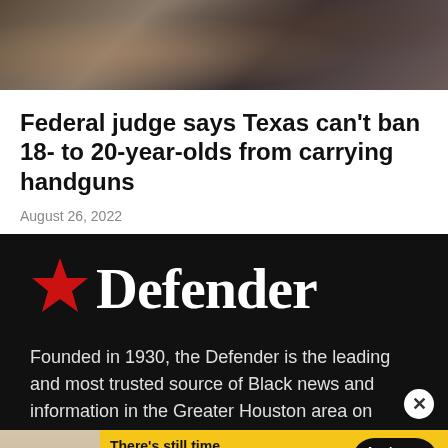[Figure (photo): Close-up photo of handguns or firearms, dark and brown tones]
Federal judge says Texas can't ban 18- to 20-year-olds from carrying handguns
August 26, 2022
[Figure (logo): Defender newspaper logo — red star followed by 'Defender' in large white serif text on black background]
Founded in 1930, the Defender is the leading and most trusted source of Black news and information in the Greater Houston area on multiple platforms: web, social
[Figure (photo): Houston Community College advertisement banner — There's still time to register for fall. Apply today.]